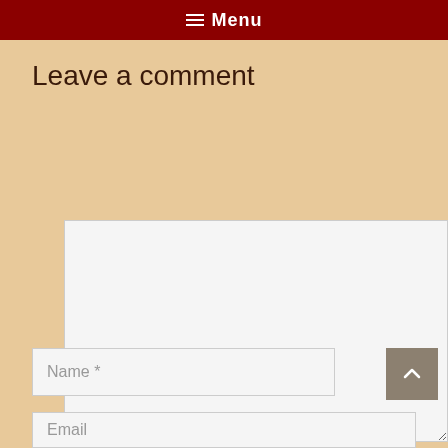≡ Menu
Leave a comment
[Figure (screenshot): Empty comment textarea input field with light gray background]
Name *
Email